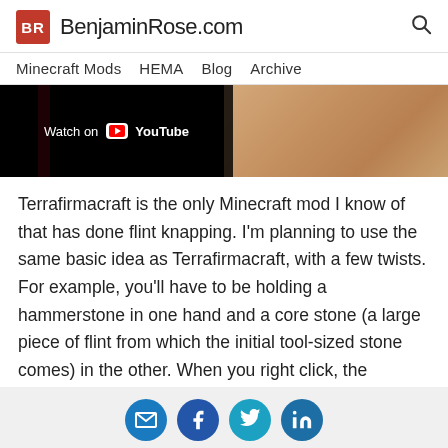BR BenjaminRose.com
Minecraft Mods  HEMA  Blog  Archive
[Figure (screenshot): YouTube video thumbnail showing 'Watch on YouTube' overlay on left half and sandy stone texture on right half]
Terrafirmacraft is the only Minecraft mod I know of that has done flint knapping. I'm planning to use the same basic idea as Terrafirmacraft, with a few twists. For example, you'll have to be holding a hammerstone in one hand and a core stone (a large piece of flint from which the initial tool-sized stone comes) in the other. When you right click, the knapping interface will open. Every piece of stone will be a slightly
© 2006–2020 Benjamin Rose. Powered by Jekyll & TeXt Theme.